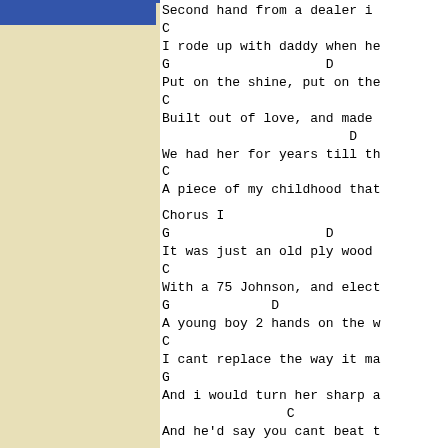Second hand from a dealer i...
C
I rode up with daddy when he...
G                    D
Put on the shine, put on the...
C
Built out of love, and made...
D
We had her for years till th...
C
A piece of my childhood that...
Chorus I
G                    D
It was just an old ply wood...
C
With a 75 Johnson, and elect...
G             D
A young boy 2 hands on the w...
C
I cant replace the way it ma...
G
And i would turn her sharp a...
C
And he'd say you cant beat t...